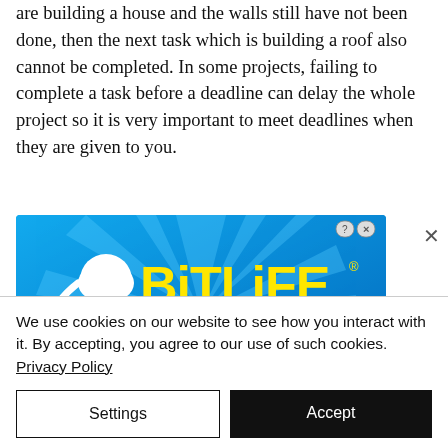are building a house and the walls still have not been done, then the next task which is building a roof also cannot be completed. In some projects, failing to complete a task before a deadline can delay the whole project so it is very important to meet deadlines when they are given to you.
[Figure (illustration): BitLife mobile game advertisement on blue background with radial rays, sperm icon, yellow 'BitLife' logo text, and black tagline 'WHEN REAL LIFE IS QUARANTINED']
We use cookies on our website to see how you interact with it. By accepting, you agree to our use of such cookies. Privacy Policy